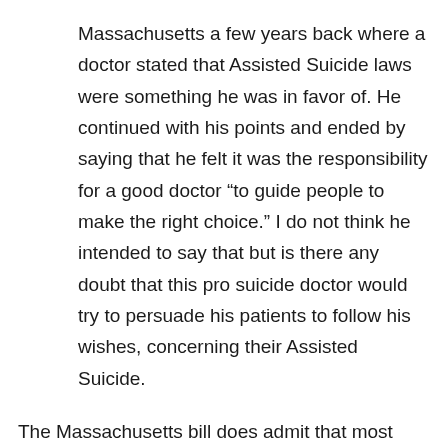Massachusetts a few years back where a doctor stated that Assisted Suicide laws were something he was in favor of. He continued with his points and ended by saying that he felt it was the responsibility for a good doctor “to guide people to make the right choice.” I do not think he intended to say that but is there any doubt that this pro suicide doctor would try to persuade his patients to follow his wishes, concerning their Assisted Suicide.
The Massachusetts bill does admit that most assisted suicide deaths are not quick and painless. The bills state: